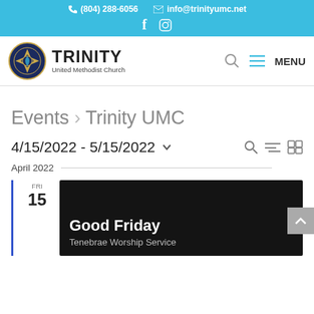(804) 288-6056  info@trinityumc.net
[Figure (logo): Trinity United Methodist Church logo with circular emblem and text]
Events › Trinity UMC
4/15/2022 - 5/15/2022
April 2022
FRI 15 Good Friday Tenebrae Worship Service